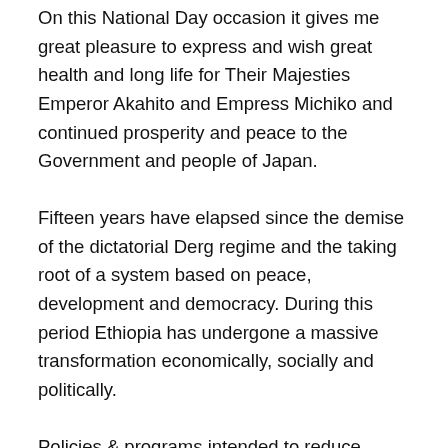On this National Day occasion it gives me great pleasure to express and wish great health and long life for Their Majesties Emperor Akahito and Empress Michiko and continued prosperity and peace to the Government and people of Japan.
Fifteen years have elapsed since the demise of the dictatorial Derg regime and the taking root of a system based on peace, development and democracy. During this period Ethiopia has undergone a massive transformation economically, socially and politically.
Policies & programs intended to reduce poverty formulated and implemented during past years have shown rapid broad based and sustainable economic development that have benefited all our people.